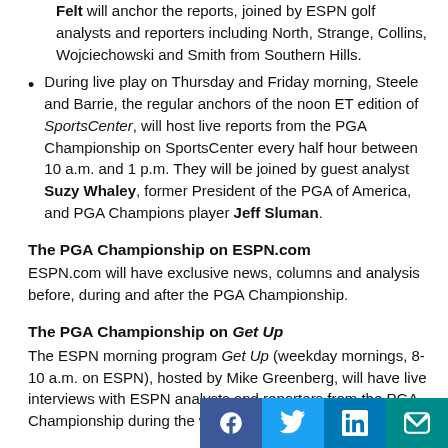Felt will anchor the reports, joined by ESPN golf analysts and reporters including North, Strange, Collins, Wojciechowski and Smith from Southern Hills.
During live play on Thursday and Friday morning, Steele and Barrie, the regular anchors of the noon ET edition of SportsCenter, will host live reports from the PGA Championship on SportsCenter every half hour between 10 a.m. and 1 p.m. They will be joined by guest analyst Suzy Whaley, former President of the PGA of America, and PGA Champions player Jeff Sluman.
The PGA Championship on ESPN.com
ESPN.com will have exclusive news, columns and analysis before, during and after the PGA Championship.
The PGA Championship on Get Up
The ESPN morning program Get Up (weekday mornings, 8-10 a.m. on ESPN), hosted by Mike Greenberg, will have live interviews with ESPN analysts and reporters from the PGA Championship during the week of the ev